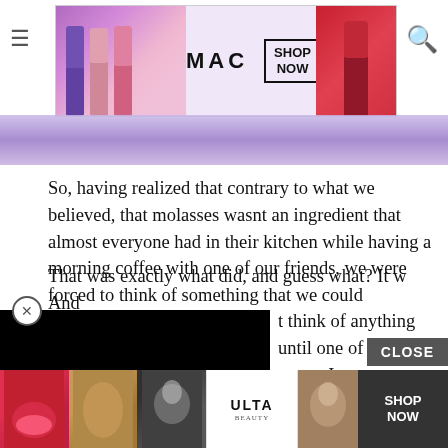[Figure (screenshot): MAC Cosmetics advertisement banner showing lipsticks in purple, pink, and red with MAC logo and SHOP NOW button]
[Figure (photo): Purple/lavender background banner image]
So, having realized that contrary to what we believed, that molasses wasnt an ingredient that almost everyone had in their kitchen while having a morning coffee with one of our friends, we were forced to think of something that we could [obscured by black overlay] t think of anything until one of [obscured] syrup. It was a lightning bolt moment, and we vowed to try it the next time we were baking a batch of cookies.
[Figure (screenshot): Black video/ad overlay block covering part of the article text]
That was exactly what did, and guess what? It w And whats [obscured] ons as usin
[Figure (screenshot): ULTA Beauty advertisement banner showing beauty product photos with SHOP NOW button and CLOSE button]